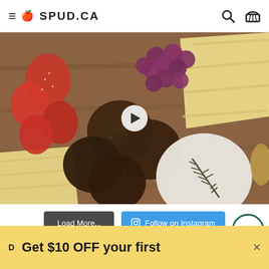SPUD.CA
[Figure (photo): Charcuterie/snack board with strawberries, red grapes, sliced cheese, round crackers/bread slices, brie cheese with rosemary sprig, on a wooden board. Video play button overlay in center.]
Load More...
Follow on Instagram
Get $10 OFF your first